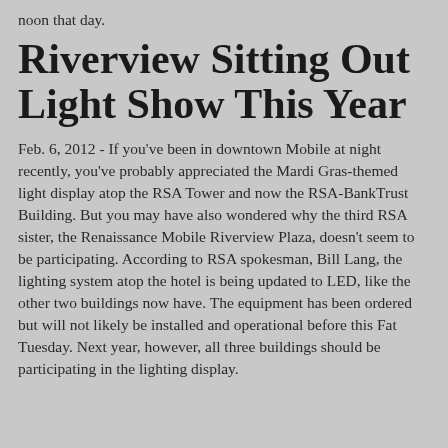noon that day.
Riverview Sitting Out Light Show This Year
Feb. 6, 2012 - If you've been in downtown Mobile at night recently, you've probably appreciated the Mardi Gras-themed light display atop the RSA Tower and now the RSA-BankTrust Building. But you may have also wondered why the third RSA sister, the Renaissance Mobile Riverview Plaza, doesn't seem to be participating. According to RSA spokesman, Bill Lang, the lighting system atop the hotel is being updated to LED, like the other two buildings now have. The equipment has been ordered but will not likely be installed and operational before this Fat Tuesday. Next year, however, all three buildings should be participating in the lighting display.